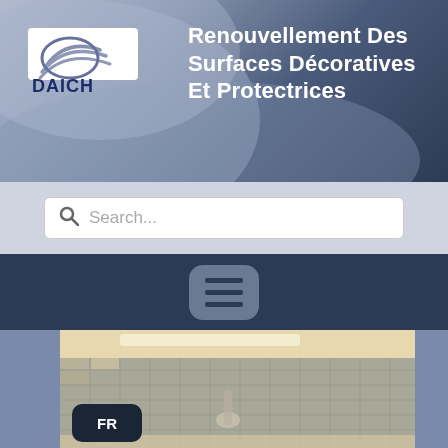[Figure (logo): Daich Coatings logo with wave/arc graphic and text DAICH COATINGS]
Renouvellement Des Surfaces Décoratives Et Protectrices
Search...
[Figure (screenshot): Hamburger menu button (three horizontal lines) on dark navy navigation bar]
[Figure (photo): Kitchen backsplash with mosaic tile, sink faucet, and countertop items visible]
FR